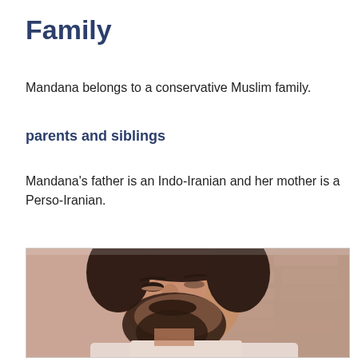Family
Mandana belongs to a conservative Muslim family.
parents and siblings
Mandana's father is an Indo-Iranian and her mother is a Perso-Iranian.
[Figure (photo): A vintage-style photo of a bearded young man with dark hair looking downward, wearing a white shirt, with a rocky or stone wall background. The photo has a faded, pinkish-warm tone.]